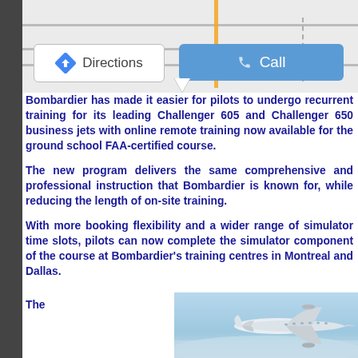[Figure (screenshot): Google Maps interface showing Directions and Call buttons over a map view]
Bombardier has made it easier for pilots to undergo recurrent training for its leading Challenger 605 and Challenger 650 business jets with online remote training now available for the ground school FAA-certified course.
The new program delivers the same comprehensive and professional instruction that Bombardier is known for, while reducing the length of on-site training.
With more booking flexibility and a wider range of simulator time slots, pilots can now complete the simulator component of the course at Bombardier's training centres in Montreal and Dallas.
The
[Figure (photo): Bombardier business jet aircraft in flight over water/sky background]